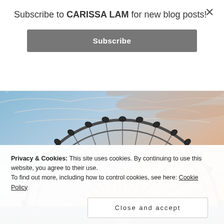Subscribe to CARISSA LAM for new blog posts!
Subscribe
×
[Figure (photo): Photo of the London Eye Ferris wheel against a dramatic sunset sky with pink, blue, and golden clouds]
Privacy & Cookies: This site uses cookies. By continuing to use this website, you agree to their use.
To find out more, including how to control cookies, see here: Cookie Policy
Close and accept